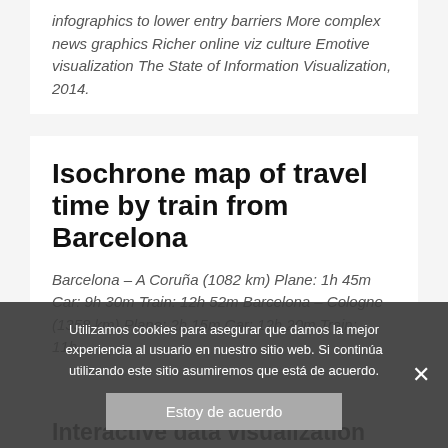infographics to lower entry barriers More complex news graphics Richer online viz culture Emotive visualization The State of Information Visualization, 2014.
Isochrone map of travel time by train from Barcelona
Barcelona – A Coruña (1082 km) Plane: 1h 45m Car: 9h 30m Train: 12h 52m Barcelona – Cologne (1358 km) Plane: 2h 15m Car: 12h 20m Train: 11h...
Interactive data visualization
thumbsupviz: Super basic bar chart (ordered greatest to least), used as part of an internal staff report on highest
Utilizamos cookies para asegurar que damos la mejor experiencia al usuario en nuestro sitio web. Si continúa utilizando este sitio asumiremos que está de acuerdo.